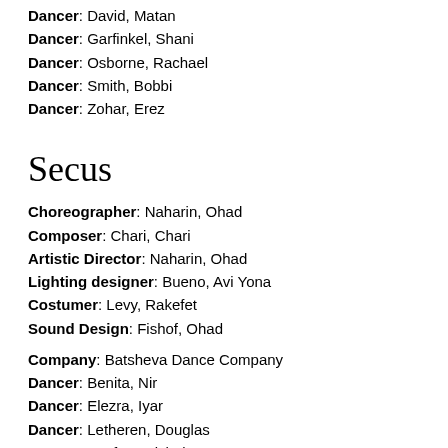Dancer: David, Matan
Dancer: Garfinkel, Shani
Dancer: Osborne, Rachael
Dancer: Smith, Bobbi
Dancer: Zohar, Erez
Secus
Choreographer: Naharin, Ohad
Composer: Chari, Chari
Artistic Director: Naharin, Ohad
Lighting designer: Bueno, Avi Yona
Costumer: Levy, Rakefet
Sound Design: Fishof, Ohad
Company: Batsheva Dance Company
Dancer: Benita, Nir
Dancer: Elezra, Iyar
Dancer: Letheren, Douglas
Dancer: Sayfan, Michal